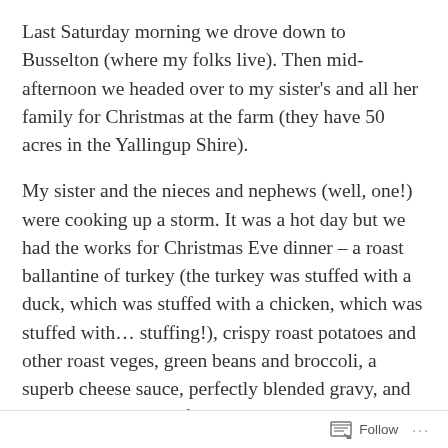Last Saturday morning we drove down to Busselton (where my folks live). Then mid-afternoon we headed over to my sister's and all her family for Christmas at the farm (they have 50 acres in the Yallingup Shire).
My sister and the nieces and nephews (well, one!) were cooking up a storm. It was a hot day but we had the works for Christmas Eve dinner – a roast ballantine of turkey (the turkey was stuffed with a duck, which was stuffed with a chicken, which was stuffed with… stuffing!), crispy roast potatoes and other roast veges, green beans and broccoli, a superb cheese sauce, perfectly blended gravy, and cranberry sauce. All followed by a yummy sticky date pudding with butterscotch sauce courtesy of Michelle. Someone forgot to put the ham on the plates, but it didn't
Follow ···